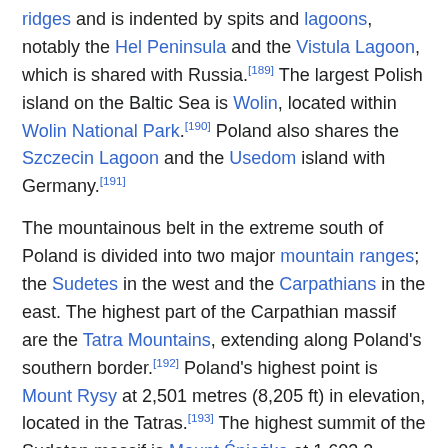ridges and is indented by spits and lagoons, notably the Hel Peninsula and the Vistula Lagoon, which is shared with Russia.[189] The largest Polish island on the Baltic Sea is Wolin, located within Wolin National Park.[190] Poland also shares the Szczecin Lagoon and the Usedom island with Germany.[191]
The mountainous belt in the extreme south of Poland is divided into two major mountain ranges; the Sudetes in the west and the Carpathians in the east. The highest part of the Carpathian massif are the Tatra Mountains, extending along Poland's southern border.[192] Poland's highest point is Mount Rysy at 2,501 metres (8,205 ft) in elevation, located in the Tatras.[193] The highest summit of the Sudeten massif is Mount Śnieżka at 1,603.3 metres (5,260 ft), shared with the Czech Republic.[194] The lowest point in Poland is situated at Raczki Elbląskie in the Vistula Delta, which is 1.8 metres (5.9 ft) below sea level.[186]
[Figure (photo): Partial view of a blue water/sky scene, cropped at bottom of page]